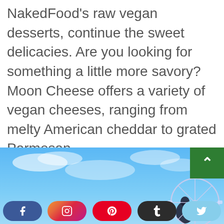NakedFood's raw vegan desserts, continue the sweet delicacies. Are you looking for something a little more savory? Moon Cheese offers a variety of vegan cheeses, ranging from melty American cheddar to grated Parmesan.
[Figure (photo): Outdoor photo with blue sky and clouds, showing a silhouette of a person and a large Ferris wheel structure in the background]
Social sharing bar with Facebook, Instagram, Pinterest, Tumblr, Twitter buttons